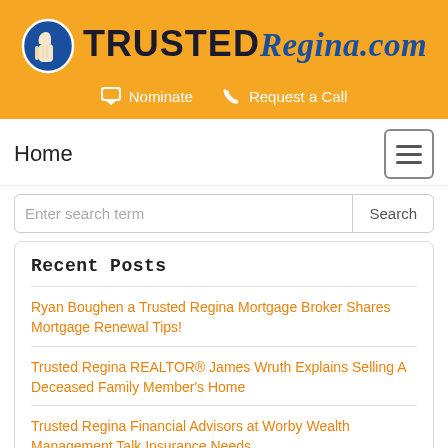[Figure (logo): TrustedRegina.com logo with thumbs up icon in blue circle on orange background, with bold 'TRUSTED' in dark and cursive 'Regina.com' in blue]
Nominate   Request a Call
Home
Enter search term
Search
Recent Posts
Ryan Boughen a Trusted Regina Mortgage Broker Shares Mortgage Renewal Tips!
Trusted Regina REALTOR® James Wruth Explains Selling A Deceased Family Member's Home
Trusted Regina Financial Advisors at Worby Wealth Management Talk Insurance Needs